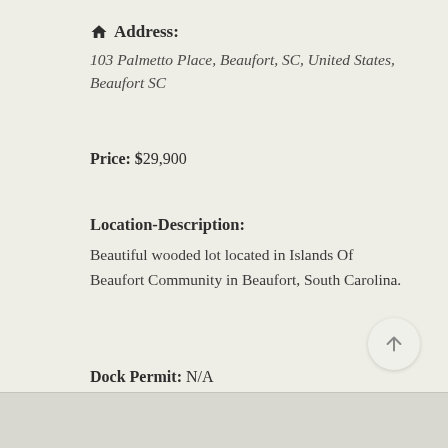🏠 Address:
103 Palmetto Place, Beaufort, SC, United States, Beaufort SC
Price: $29,900
Location-Description:
Beautiful wooded lot located in Islands Of Beaufort Community in Beaufort, South Carolina.
Dock Permit: N/A
Categories: Lots
Listing Tags: WoodedLot